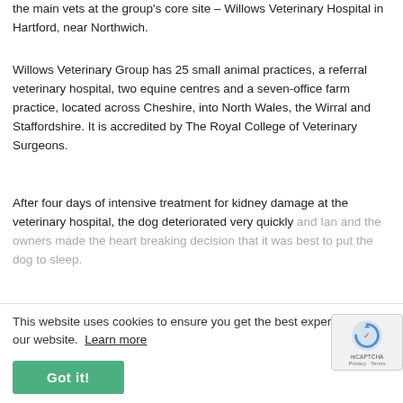the main vets at the group's core site – Willows Veterinary Hospital in Hartford, near Northwich.
Willows Veterinary Group has 25 small animal practices, a referral veterinary hospital, two equine centres and a seven-office farm practice, located across Cheshire, into North Wales, the Wirral and Staffordshire. It is accredited by The Royal College of Veterinary Surgeons.
After four days of intensive treatment for kidney damage at the veterinary hospital, the dog deteriorated very quickly and Ian and the owners made the heart breaking decision that it was best to put the dog to sleep.
Concerned by the dog's condition and sudden deterioration, Ian and his colleague Lorna Patelaros sent samples off to a specialist UK centre for analysis, received the news late last night that it was a confirmed
This website uses cookies to ensure you get the best experience on our website.  Learn more
Got it!